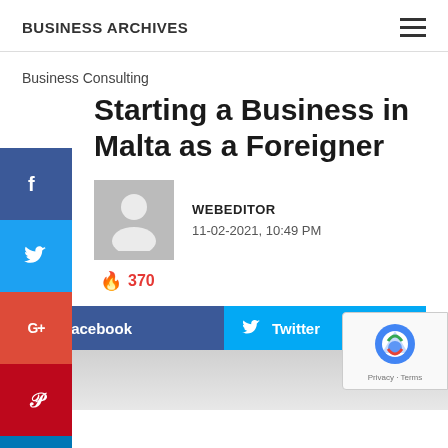BUSINESS ARCHIVES
Business Consulting
Starting a Business in Malta as a Foreigner
WEBEDITOR
11-02-2021, 10:49 PM
370
Facebook   Twitter